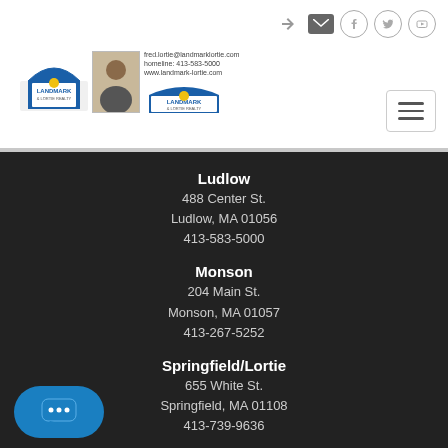[Figure (logo): Landmark & Lortie Realty logos with agent photo]
Ludlow
488 Center St.
Ludlow, MA 01056
413-583-5000
Monson
204 Main St.
Monson, MA 01057
413-267-5252
Springfield/Lortie
655 White St.
Springfield, MA 01108
413-739-9636
Wilbraham